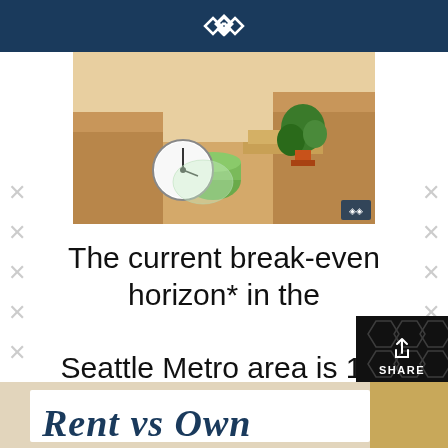[Figure (photo): Moving boxes with a wrapped clock, green bubble wrap, a potted plant, and cardboard boxes on a wooden floor]
The current break-even horizon* in the Seattle Metro area is 1.6 years!
[Figure (photo): Partial view of a 'Rent vs Own' sign with handwritten blue text on a light background with cork board visible]